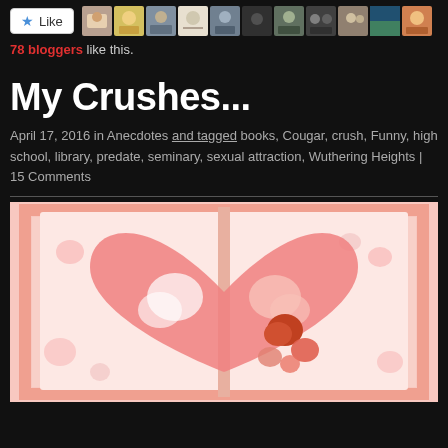[Figure (screenshot): Like button with star icon and a strip of blogger avatar thumbnails]
78 bloggers like this.
My Crushes...
April 17, 2016 in Anecdotes and tagged books, Cougar, crush, Funny, high school, library, predate, seminary, sexual attraction, Wuthering Heights | 15 Comments
[Figure (illustration): Open book with pink heart illustrations, nested hearts in shades of pink, white and dark red/orange, on a light pink background]